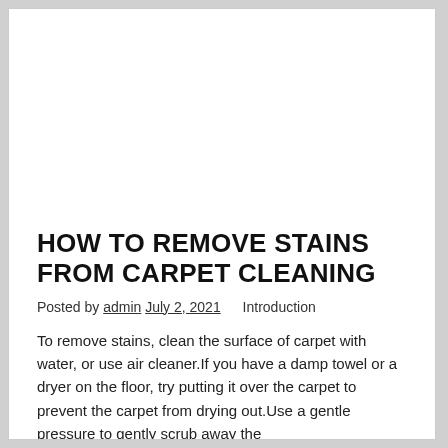HOW TO REMOVE STAINS FROM CARPET CLEANING
Posted by admin July 2, 2021   Introduction
To remove stains, clean the surface of carpet with water, or use air cleaner.If you have a damp towel or a dryer on the floor, try putting it over the carpet to prevent the carpet from drying out.Use a gentle pressure to gently scrub away the